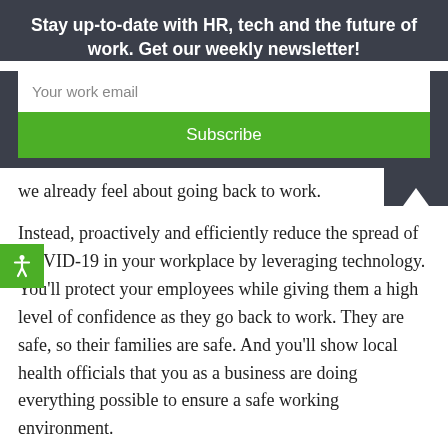Stay up-to-date with HR, tech and the future of work. Get our weekly newsletter!
Your work email
Subscribe
we already feel about going back to work.
Instead, proactively and efficiently reduce the spread of COVID-19 in your workplace by leveraging technology. You'll protect your employees while giving them a high level of confidence as they go back to work. They are safe, so their families are safe. And you'll show local health officials that you as a business are doing everything possible to ensure a safe working environment.
All because you executed an affordable return-to-work strategy that leverages thermal imaging, facial